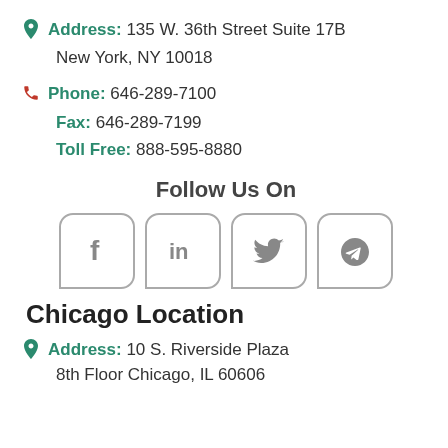Address: 135 W. 36th Street Suite 17B
New York, NY 10018
Phone: 646-289-7100
Fax: 646-289-7199
Toll Free: 888-595-8880
Follow Us On
[Figure (infographic): Four social media icons in rounded square boxes: Facebook (f), LinkedIn (in), Twitter (bird), YouTube (play button)]
Chicago Location
Address: 10 S. Riverside Plaza
8th Floor Chicago, IL 60606